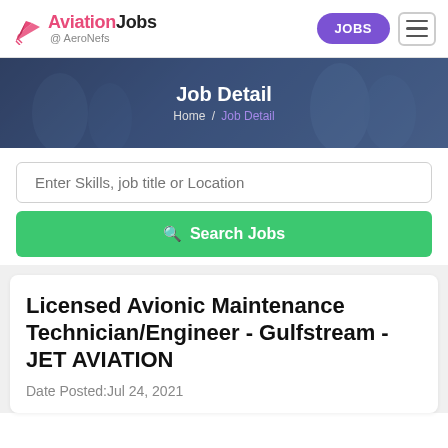Aviation Jobs @ AeroNefs
Job Detail
Home / Job Detail
Enter Skills, job title or Location
Search Jobs
Licensed Avionic Maintenance Technician/Engineer - Gulfstream - JET AVIATION
Date Posted:Jul 24, 2021